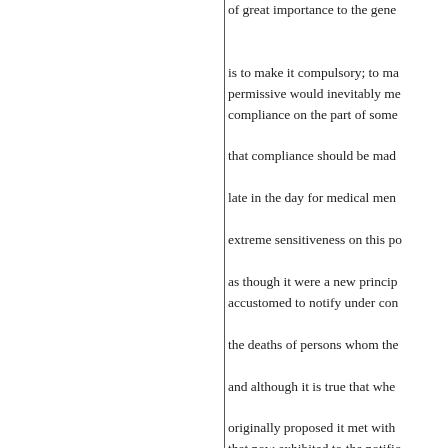of great importance to the gene... is to make it compulsory; to ma... permissive would inevitably me... compliance on the part of some... that compliance should be mad... late in the day for medical men ... extreme sensitiveness on this po... as though it were a new princip... accustomed to notify under con... the deaths of persons whom the... and although it is true that whe... originally proposed it met with ... that now exhibited to the notific... became law; and while it proves... it is found to be in no way detri... to the interests of the medical m... amour propre. Compulsion an...